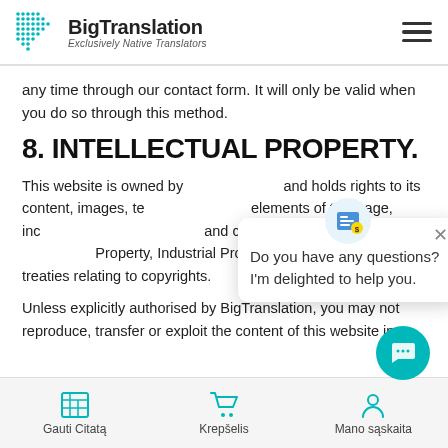BigTranslation — Exclusively Native Translators
any time through our contact form. It will only be valid when you do so through this method.
8. INTELLECTUAL PROPERTY.
This website is owned by [BigTranslation] and holds rights to its content, images, texts and all other elements of this page, including design. All images and content are protected by Intellectual Property, Industrial Property and international treaties relating to copyrights.
Unless explicitly authorised by BigTranslation, you may not reproduce, transfer or exploit the content of this website in
[Figure (screenshot): Chat popup overlay with icon asking 'Do you have any questions? I'm delighted to help you.' and a close button]
Gauti Citatą   Krepšelis   Mano sąskaita